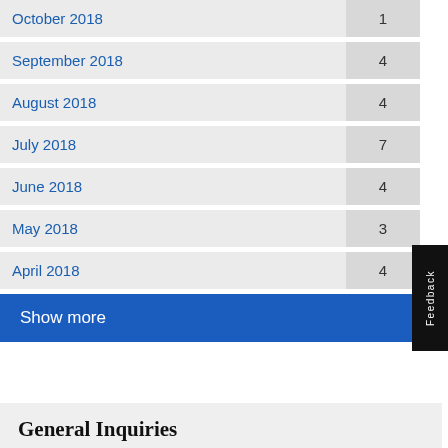October 2018 — 1
September 2018 — 4
August 2018 — 4
July 2018 — 7
June 2018 — 4
May 2018 — 3
April 2018 — 4
Show more
General Inquiries
Contact Government
or use the Feedback tab to share your comments and feedback